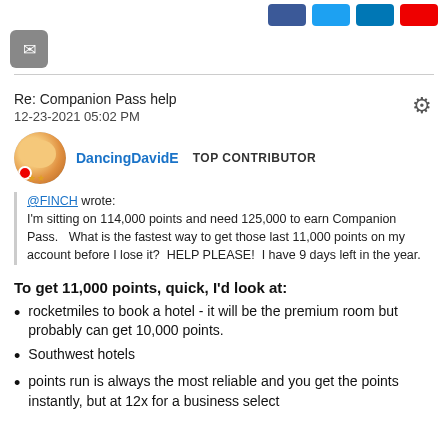[Figure (screenshot): Social sharing buttons: Facebook (blue), Twitter (light blue), LinkedIn (blue), Pinterest/Reddit (red), and an email button (gray with envelope icon)]
Re: Companion Pass help
12-23-2021 05:02 PM
DancingDavidE  TOP CONTRIBUTOR
@FINCH wrote:
I'm sitting on 114,000 points and need 125,000 to earn Companion Pass.   What is the fastest way to get those last 11,000 points on my account before I lose it?  HELP PLEASE!  I have 9 days left in the year.
To get 11,000 points, quick, I'd look at:
rocketmiles to book a hotel - it will be the premium room but probably can get 10,000 points.
Southwest hotels
points run is always the most reliable and you get the points instantly, but at 12x for a business select